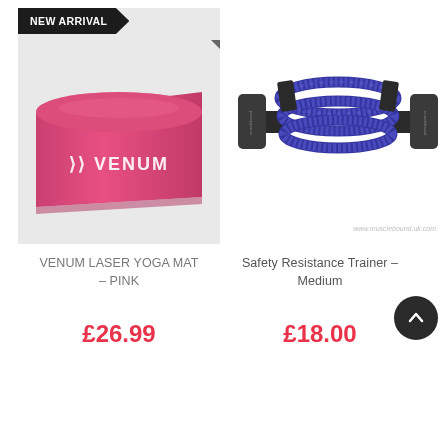[Figure (photo): Pink Venum Laser Yoga Mat shown rolled at one end, displayed on light grey background with NEW ARRIVAL banner in top left corner]
VENUM LASER YOGA MAT – PINK
£26.99
[Figure (photo): Blue and black Safety Resistance Trainer (exercise band with handles and fabric cover) coiled on white background, with musclebound.uk.com watermark]
Safety Resistance Trainer – Medium
£18.00